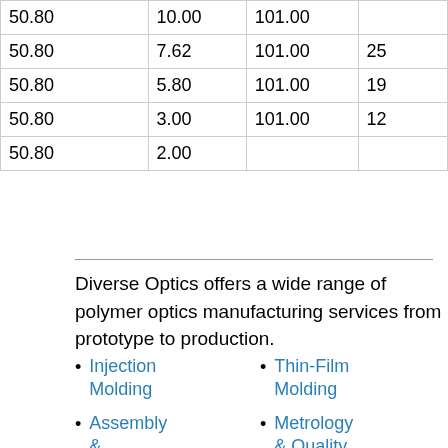| 50.80 | 10.00 | 101.00 |  |
| 50.80 | 7.62 | 101.00 | 25 |
| 50.80 | 5.80 | 101.00 | 19 |
| 50.80 | 3.00 | 101.00 | 12 |
| 50.80 | 2.00 |  |  |
Diverse Optics offers a wide range of polymer optics manufacturing services from prototype to production.
Injection Molding
Thin-Film Molding
Assembly & Bonding
Metrology & Quality